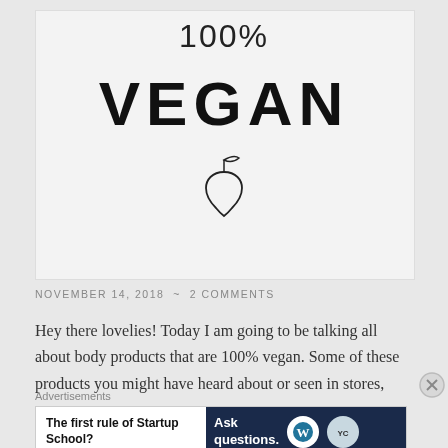[Figure (illustration): White/light gray card with '100% VEGAN' text and a minimalist pear icon outline]
NOVEMBER 14, 2018  ~  2 COMMENTS
Hey there lovelies! Today I am going to be talking all about body products that are 100% vegan. Some of these products you might have heard about or seen in stores,
Advertisements
[Figure (screenshot): Advertisement banner: left side white with 'The first rule of Startup School?' text, right side dark blue with 'Ask questions.' text and WordPress logo]